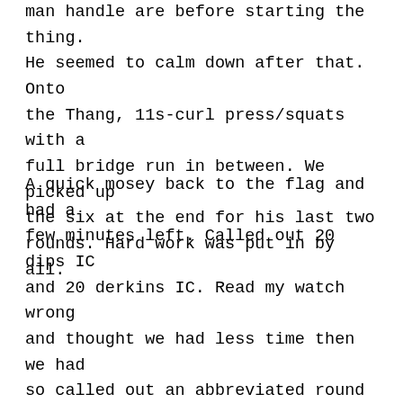man handle are before starting the thing. He seemed to calm down after that. Onto the Thang, 11s-curl press/squats with a full bridge run in between. We picked up the six at the end for his last two rounds. Hard work was put in by all.
A quick mosey back to the flag and had a few minutes left. Called out 20 dips IC and 20 derkins IC. Read my watch wrong and thought we had less time then we had so called out an abbreviated round of merry. Flutter Kicks (YHC) Jack in the Box (Stick Up) 1 min Plank (Pizza), still misreading my watch was about to call time when Ed Scissorhands corrected me with having 1 min left, Gas Pumps (Bob Ross). The sweat in my eyes was blurring